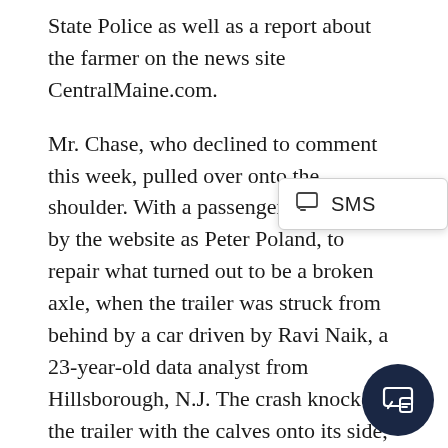State Police as well as a report about the farmer on the news site CentralMaine.com.
Mr. Chase, who declined to comment this week, pulled over onto the shoulder. With a passenger, identified by the website as Peter Poland, to repair what turned out to be a broken axle, when the trailer was struck from behind by a car driven by Ravi Naik, a 23-year-old data analyst from Hillsborough, N.J. The crash knocked the trailer with the calves onto its side, Mr. Chase told CentralMaine.com. One calf, it was later discovered, had been killed.
Mr. Naik was on his way home to Hillsborough around 10:30 p.m. from mentoring a teenage cousin Neel Naik said, and stopped his Hyundai